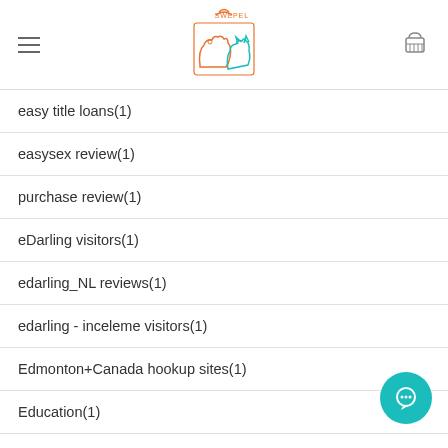[Figure (logo): Sweetpel pet store logo — orange dog and teal cat outlines with 'SWEETPEL' text]
easy title loans(1)
easysex review(1)
purchase review(1)
eDarling visitors(1)
edarling_NL reviews(1)
edarling - inceleme visitors(1)
Edmonton+Canada hookup sites(1)
Education(1)
eharmony review(1)
EquestrianSingles visitors(1)